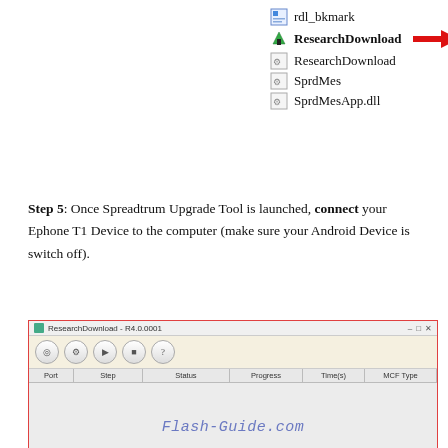[Figure (screenshot): File list showing rdl_bkmark, ResearchDownload (with red arrow), ResearchDownload, SprdMes, SprdMesApp.dll]
Step 5: Once Spreadtrum Upgrade Tool is launched, connect your Ephone T1 Device to the computer (make sure your Android Device is switch off).
[Figure (screenshot): ResearchDownload application window showing toolbar buttons and a table with columns Port, Step, Status, Progress, Time(s), MCF Type. The content area is empty with Flash-Guide.com watermark. Status bar shows Ready.]